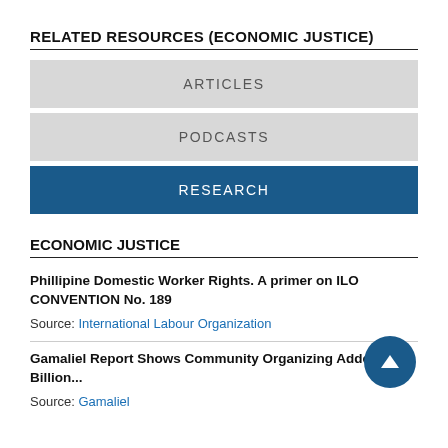RELATED RESOURCES (ECONOMIC JUSTICE)
ARTICLES
PODCASTS
RESEARCH
ECONOMIC JUSTICE
Phillipine Domestic Worker Rights. A primer on ILO CONVENTION No. 189
Source: International Labour Organization
Gamaliel Report Shows Community Organizing Added $21 Billion...
Source: Gamaliel